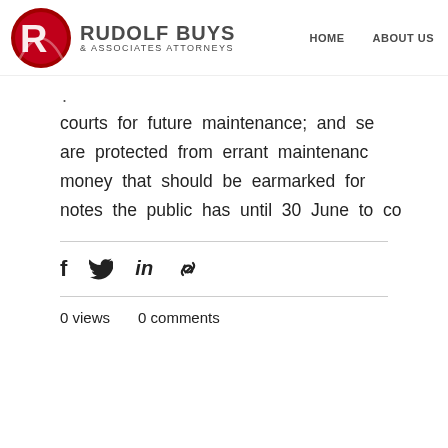RUDOLF BUYS & ASSOCIATES ATTORNEYS — HOME  ABOUT US
courts for future maintenance; and se are protected from errant maintenanc money that should be earmarked for notes the public has until 30 June to co
0 views   0 comments